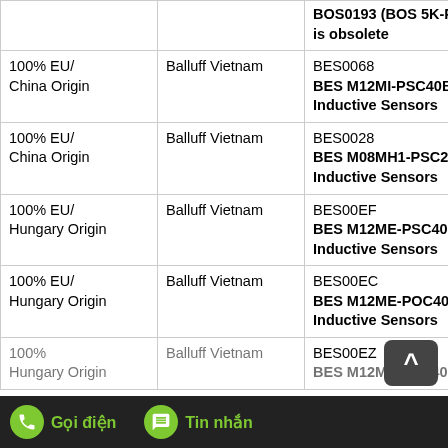| Origin | Supplier | Product |
| --- | --- | --- |
|  |  | BOS0193 (BOS 5K-PS49) is obsolete |
| 100% EU/
China Origin | Balluff Vietnam | BES0068
BES M12MI-PSC40B-S...
Inductive Sensors |
| 100% EU/
China Origin | Balluff Vietnam | BES0028
BES M08MH1-PSC20B...
Inductive Sensors |
| 100% EU/
Hungary Origin | Balluff Vietnam | BES00EF
BES M12ME-PSC40B-003
Inductive Sensors |
| 100% EU/
Hungary Origin | Balluff Vietnam | BES00EC
BES M12ME-POC40B-003
Inductive Sensors |
|  |  | BES00EZ |
| 100%...
Hungary Origin | Balluff Vietnam | BES M12ME-PSC40B-003 |
Gọi điện   Tin nhắn